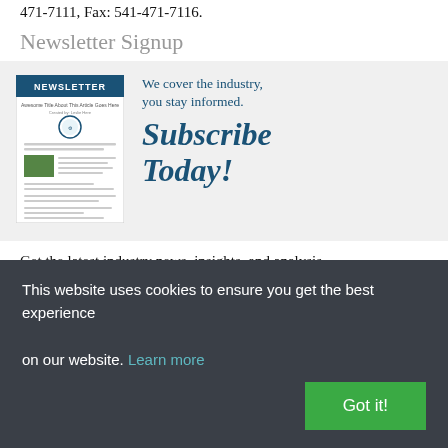471-7111, Fax: 541-471-7116.
Newsletter Signup
[Figure (illustration): Newsletter signup promotional box with a newsletter image on left and 'We cover the industry, you stay informed. Subscribe Today!' text on right]
Get the latest industry news, insights, and analysis delivered to your inbox.
Join your peers
This website uses cookies to ensure you get the best experience on our website. Learn more